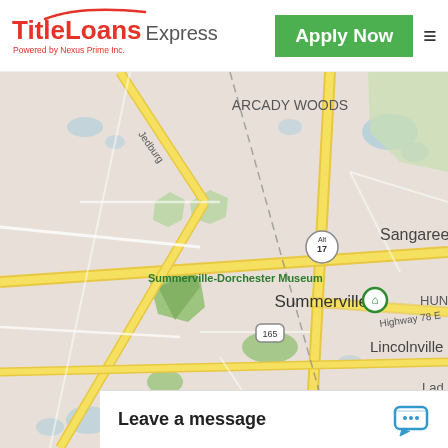TitleLoans Express — Powered by Nexus Prime Inc. | Apply Now
[Figure (map): Street map showing Summerville, SC area with surrounding neighborhoods including Arcady Woods, Sangaree, Lincolnville, and Ladson. Yellow roads indicate major highways. A green museum marker is placed at Summerville-Dorchester Museum. Route markers for Alt 17 and 165 are visible. Scale shows 10000 ft.]
Leave a message